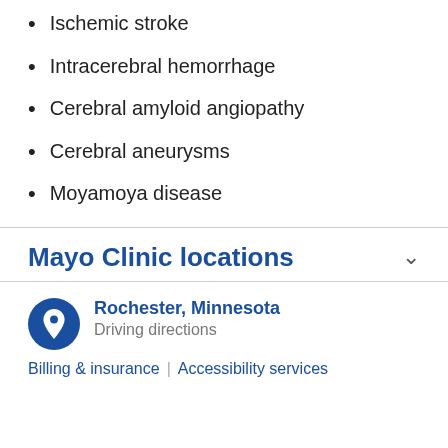Ischemic stroke
Intracerebral hemorrhage
Cerebral amyloid angiopathy
Cerebral aneurysms
Moyamoya disease
Mayo Clinic locations
Rochester, Minnesota
Driving directions
Billing & insurance | Accessibility services